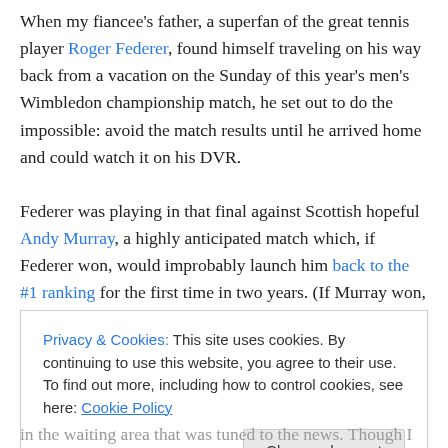When my fiancee's father, a superfan of the great tennis player Roger Federer, found himself traveling on his way back from a vacation on the Sunday of this year's men's Wimbledon championship match, he set out to do the impossible: avoid the match results until he arrived home and could watch it on his DVR.

Federer was playing in that final against Scottish hopeful Andy Murray, a highly anticipated match which, if Federer won, would improbably launch him back to the #1 ranking for the first time in two years. (If Murray won, it would mark
Privacy & Cookies: This site uses cookies. By continuing to use this website, you agree to their use.
To find out more, including how to control cookies, see here: Cookie Policy
[Close and accept]
in the waiting area that was tuned to the news. Though I